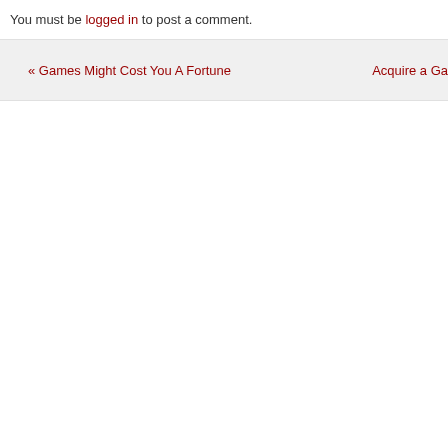You must be logged in to post a comment.
« Games Might Cost You A Fortune   Acquire a Ga